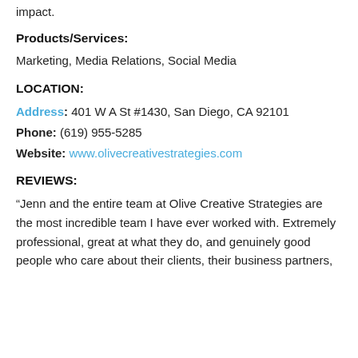impact.
Products/Services:
Marketing, Media Relations, Social Media
LOCATION:
Address: 401 W A St #1430, San Diego, CA 92101
Phone: (619) 955-5285
Website: www.olivecreativestrategies.com
REVIEWS:
“Jenn and the entire team at Olive Creative Strategies are the most incredible team I have ever worked with. Extremely professional, great at what they do, and genuinely good people who care about their clients, their business partners,